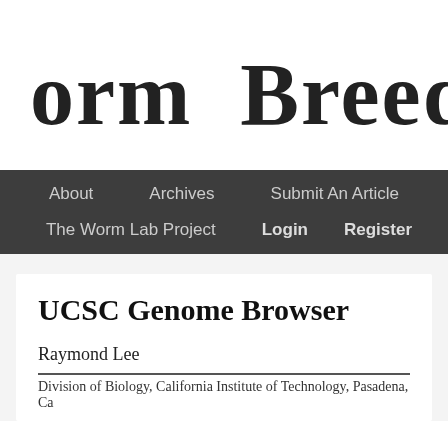[Figure (logo): Partially visible handwritten-style text reading 'orm Breeder's G' — part of a site logo/banner for 'Worm Breeder's Gazette']
About   Archives   Submit An Article   The Worm Lab Project   Login   Register
UCSC Genome Browser
Raymond Lee
Division of Biology, California Institute of Technology, Pasadena, Ca